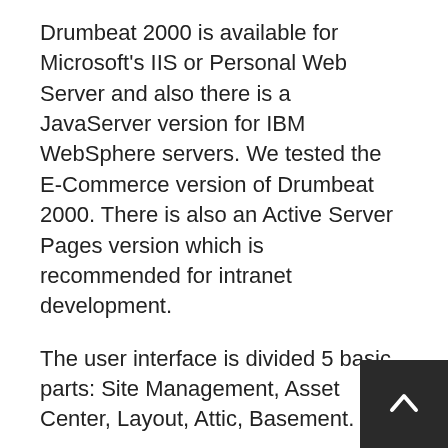Drumbeat 2000 is available for Microsoft's IIS or Personal Web Server and also there is a JavaServer version for IBM WebSphere servers. We tested the E-Commerce version of Drumbeat 2000. There is also an Active Server Pages version which is recommended for intranet development.
The user interface is divided 5 basic parts: Site Management, Asset Center, Layout, Attic, Basement.
The Site Management area is used to display a tree view of the pages as well as for the management of templates. This area also shows the attributes of